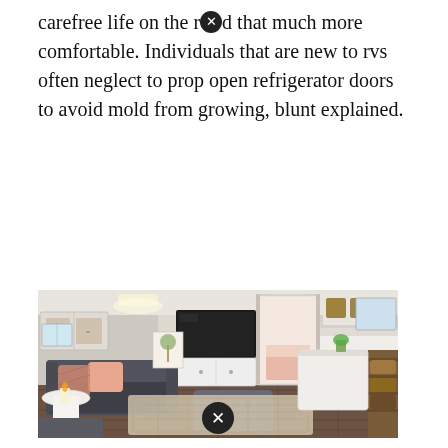carefree life on the r[blocked]d that much more comfortable. Individuals that are new to rvs often neglect to prop open refrigerator doors to avoid mold from growing, blunt explained.
[Figure (photo): Interior of a renovated RV/travel trailer showing a cozy living area with a dark gray sofa with pink throw pillows, a round white side table with a candle, an ottoman, a wood-look vinyl floor, white kitchen cabinetry, a TV mounted on the wall, a bedroom visible through a doorway, open shelving on the right with baskets, and decorative items.]